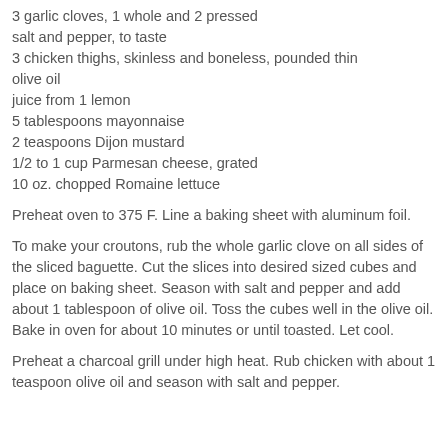3 garlic cloves, 1 whole and 2 pressed
salt and pepper, to taste
3 chicken thighs, skinless and boneless, pounded thin
olive oil
juice from 1 lemon
5 tablespoons mayonnaise
2 teaspoons Dijon mustard
1/2 to 1 cup Parmesan cheese, grated
10 oz. chopped Romaine lettuce
Preheat oven to 375 F. Line a baking sheet with aluminum foil.
To make your croutons, rub the whole garlic clove on all sides of the sliced baguette. Cut the slices into desired sized cubes and place on baking sheet. Season with salt and pepper and add about 1 tablespoon of olive oil. Toss the cubes well in the olive oil. Bake in oven for about 10 minutes or until toasted. Let cool.
Preheat a charcoal grill under high heat. Rub chicken with about 1 teaspoon olive oil and season with salt and pepper.